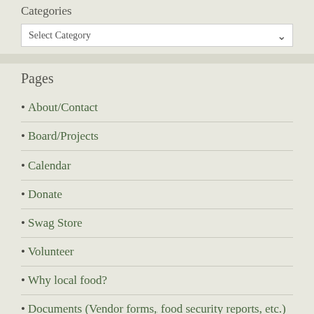Categories
Select Category
Pages
• About/Contact
• Board/Projects
• Calendar
• Donate
• Swag Store
• Volunteer
• Why local food?
• Documents (Vendor forms, food security reports, etc.)
Recent Posts